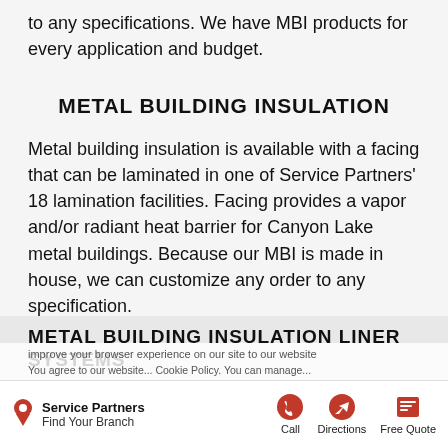to any specifications. We have MBI products for every application and budget.
METAL BUILDING INSULATION
Metal building insulation is available with a facing that can be laminated in one of Service Partners' 18 lamination facilities. Facing provides a vapor and/or radiant heat barrier for Canyon Lake metal buildings. Because our MBI is made in house, we can customize any order to any specification.
METAL BUILDING INSULATION LINER SYSTEMS
Service Partners | Find Your Branch | Call | Directions | Free Quote